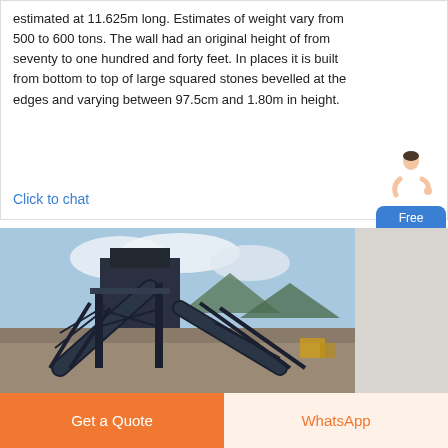estimated at 11.625m long. Estimates of weight vary from 500 to 600 tons. The wall had an original height of from seventy to one hundred and forty feet. In places it is built from bottom to top of large squared stones bevelled at the edges and varying between 97.5cm and 1.80m in height.
Click to chat
[Figure (photo): Industrial quarry conveyor belt and crusher machinery structure against sky with mountains in background]
Get a Quote
WhatsApp